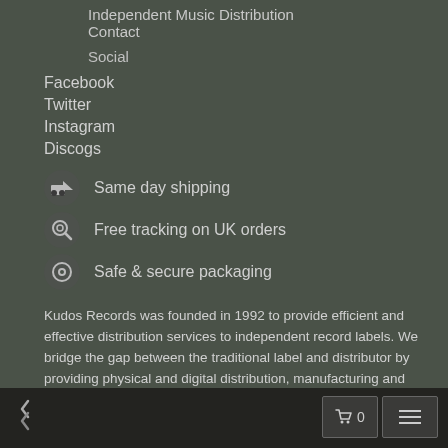Independent Music Distribution
Contact
Social
Facebook
Twitter
Instagram
Discogs
Same day shipping
Free tracking on UK orders
Safe & secure packaging
Kudos Records was founded in 1992 to provide efficient and effective distribution services to independent record labels. We bridge the gap between the traditional label and distributor by providing physical and digital distribution, manufacturing and marketing services to like-minded labels, along with a collective brand identity indicating the highest quality.
© Kudos Records Ltd 1992-2022 | 77 Fortess Road, Kentish Town,